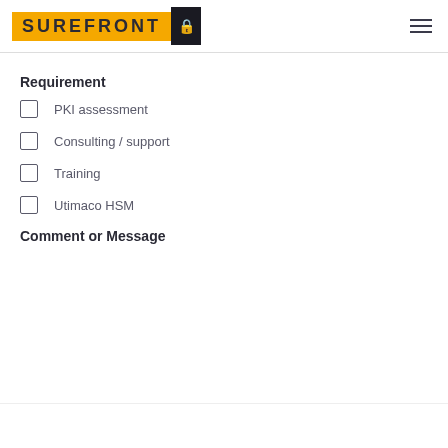[Figure (logo): Surefront logo with yellow background, black lock icon, and hamburger menu icon]
Requirement
PKI assessment
Consulting / support
Training
Utimaco HSM
Comment or Message